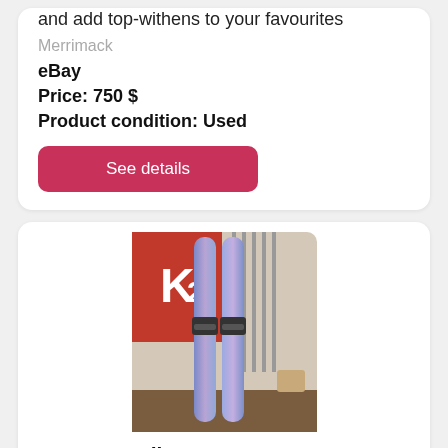and add top-withens to your favourites
Merrimack
eBay
Price: 750 $
Product condition: Used
See details
[Figure (photo): Two Nordica Santa Ana 100 153cm ski poles leaning against a wall with a K2 logo visible in the background]
19'-20' Nordica Santa Ana 100 153cm Used Demo Ski
19' 20' nordica santa ana 100 153cm used